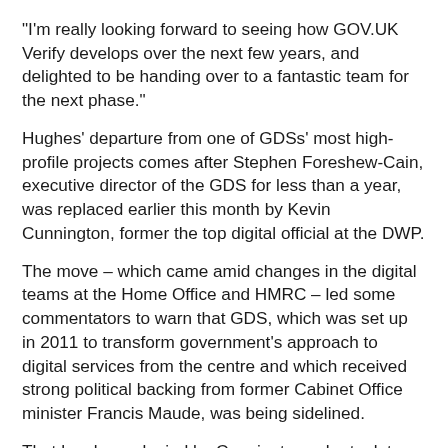"I'm really looking forward to seeing how GOV.UK Verify develops over the next few years, and delighted to be handing over to a fantastic team for the next phase."
Hughes' departure from one of GDSs' most high-profile projects comes after Stephen Foreshew-Cain, executive director of the GDS for less than a year, was replaced earlier this month by Kevin Cunnington, former the top digital official at the DWP.
The move – which came amid changes in the digital teams at the Home Office and HMRC – led some commentators to warn that GDS, which was set up in 2011 to transform government's approach to digital services from the centre and which received strong political backing from former Cabinet Office minister Francis Maude, was being sidelined.
That has been denied by Cunnington, who took to the GOV.UK blog earlier this month to make a robust defence of the organisation.
“I've read many times about the end of GDS, but it has always come back stronger than before,” the new GDS director general wrote.